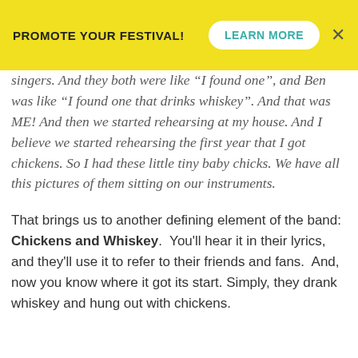PROMOTE YOUR FESTIVAL!  LEARN MORE  ×
singers.  And they both were like "I found one",  and Ben was like "I found one that drinks whiskey".  And that was ME!  And then we started rehearsing at my house.  And I believe we started rehearsing the first year that I got chickens.  So I had these little tiny baby chicks.  We have all this pictures of them sitting on our instruments.
That brings us to another defining element of the band:  Chickens and Whiskey.  You'll hear it in their lyrics, and they'll use it to refer to their friends and fans.  And, now you know where it got its start.  Simply, they drank whiskey and hung out with chickens.